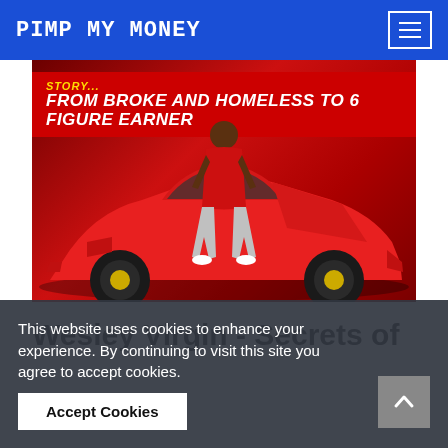PIMP MY MONEY
[Figure (photo): Promotional thumbnail showing a man in a red tank top standing in front of a red Lamborghini sports car against a dark red background, with text overlay reading 'FROM BROKE AND HOMELESS TO 6 FIGURE EARNER']
Wesley Virgin - Secrets of
This website uses cookies to enhance your experience. By continuing to visit this site you agree to accept cookies.